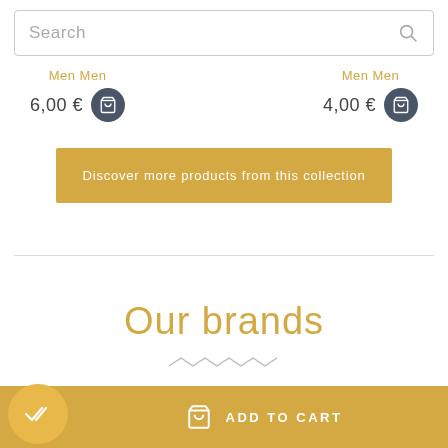Search
Men Men
6,00 €
Men Men
4,00 €
Discover more products from this collection
Our brands
ADD TO CART